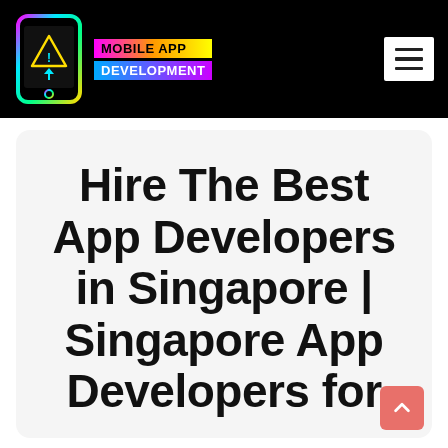MOBILE APP DEVELOPMENT
Hire The Best App Developers in Singapore | Singapore App Developers for